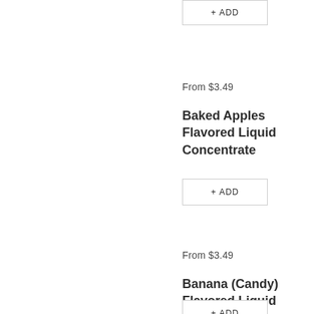+ ADD
From $3.49
Baked Apples Flavored Liquid Concentrate
+ ADD
From $3.49
Banana (Candy) Flavored Liquid Concentrate
+ ADD